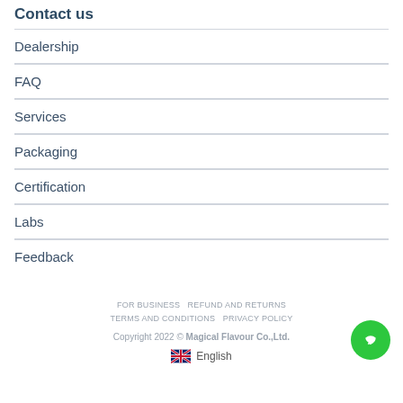Contact us
Dealership
FAQ
Services
Packaging
Certification
Labs
Feedback
FOR BUSINESS   REFUND AND RETURNS   TERMS AND CONDITIONS   PRIVACY POLICY
Copyright 2022 © Magical Flavour Co.,Ltd.
English